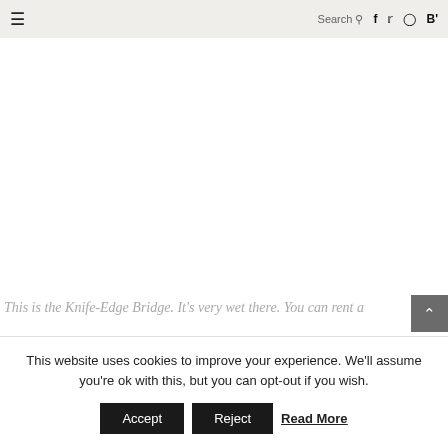≡  Search 🔍  f  t  ⬜  B'
[Figure (photo): Large white/blank image area representing the Knife-Edge Bridge photo]
This is the Knife-Edge Bridge. It's very wet there. You can rent a
This website uses cookies to improve your experience. We'll assume you're ok with this, but you can opt-out if you wish.
Accept  Reject  Read More